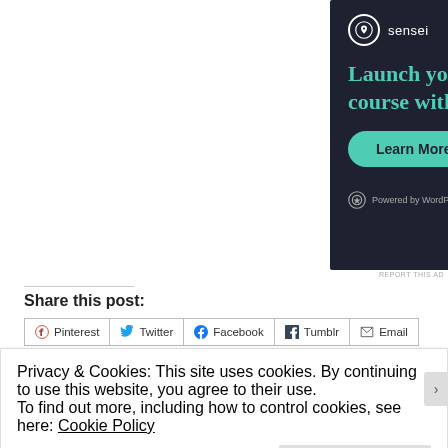[Figure (screenshot): Sensei advertisement banner with dark background. Shows Sensei logo (tree icon in circle) with text 'Launch your online course with WordPress' in teal, a 'Learn More' button in teal, and 'Powered by WordPress.com' at the bottom.]
REPORT THIS AD
Share this post:
Pinterest  Twitter  Facebook  Tumblr  Email
Privacy & Cookies: This site uses cookies. By continuing to use this website, you agree to their use.
To find out more, including how to control cookies, see here: Cookie Policy
Close and accept